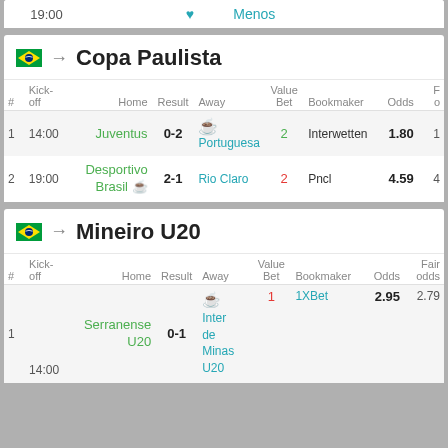| # | Kick-off | Home | Result | Away | Value Bet | Bookmaker | Odds | F o |
| --- | --- | --- | --- | --- | --- | --- | --- | --- |
| top strip | 19:00 |  |  | Menos |  |  |  |  |
Copa Paulista
| # | Kick-off | Home | Result | Away | Value Bet | Bookmaker | Odds | F o |
| --- | --- | --- | --- | --- | --- | --- | --- | --- |
| 1 | 14:00 | Juventus | 0-2 | [trophy] Portuguesa | 2 | Interwetten | 1.80 | 1 |
| 2 | 19:00 | Desportivo Brasil [trophy] | 2-1 | Rio Claro | 2 | Pncl | 4.59 | 4 |
Mineiro U20
| # | Kick-off | Home | Result | Away | Value Bet | Bookmaker | Odds | Fair odds |
| --- | --- | --- | --- | --- | --- | --- | --- | --- |
| 1 | 14:00 | Serranense U20 | 0-1 | [trophy] Inter de Minas U20 | 1 | 1XBet | 2.95 | 2.79 |